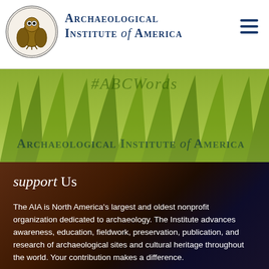Archaeological Institute of America
[Figure (logo): Archaeological Institute of America circular seal/logo with owl in center]
[Figure (screenshot): Green banner with grass/plant background and hashtag text partially visible, showing Archaeological Institute of America name]
support Us
The AIA is North America's largest and oldest nonprofit organization dedicated to archaeology. The Institute advances awareness, education, fieldwork, preservation, publication, and research of archaeological sites and cultural heritage throughout the world. Your contribution makes a difference.